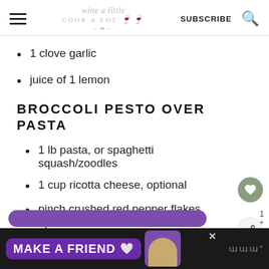wine a little cook a lot | SUBSCRIBE
1 clove garlic
juice of 1 lemon
BROCCOLI PESTO OVER PASTA
1 lb pasta, or spaghetti squash/zoodles
1 cup ricotta cheese, optional
pinch crushed red pepper flakes, optional